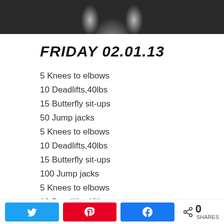[Figure (photo): Black and white photo of a muscular person's back, cropped at the top of the page]
FRIDAY 02.01.13
5 Knees to elbows
10 Deadlifts,40lbs
15 Butterfly sit-ups
50 Jump jacks
5 Knees to elbows
10 Deadlifts,40lbs
15 Butterfly sit-ups
100 Jump jacks
5 Knees to elbows
10 Deadlifts,40lbs
15 Butterfly sit-ups
150 Jump jacks
0 SHARES